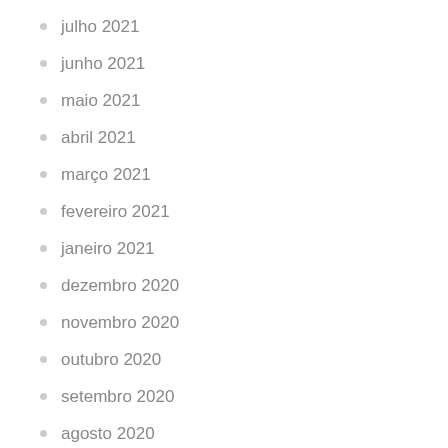julho 2021
junho 2021
maio 2021
abril 2021
março 2021
fevereiro 2021
janeiro 2021
dezembro 2020
novembro 2020
outubro 2020
setembro 2020
agosto 2020